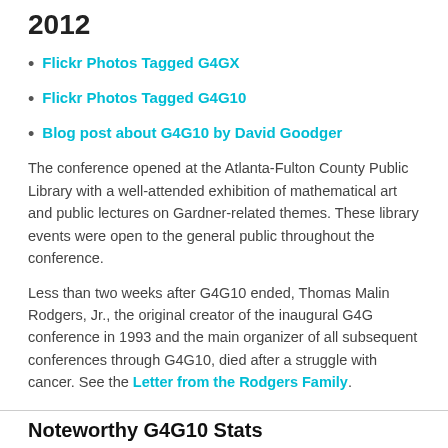2012
Flickr Photos Tagged G4GX
Flickr Photos Tagged G4G10
Blog post about G4G10 by David Goodger
The conference opened at the Atlanta-Fulton County Public Library with a well-attended exhibition of mathematical art and public lectures on Gardner-related themes. These library events were open to the general public throughout the conference.
Less than two weeks after G4G10 ended, Thomas Malin Rodgers, Jr., the original creator of the inaugural G4G conference in 1993 and the main organizer of all subsequent conferences through G4G10, died after a struggle with cancer. See the Letter from the Rodgers Family.
The G4G Foundation thanks the Simons Foundation was a major supporter of G4G10. Many conference participants also donated money and time, for which we were very grateful.
Noteworthy G4G10 Stats